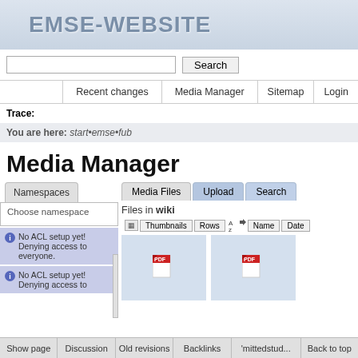EMSE-WEBSITE
Search
Recent changes | Media Manager | Sitemap | Login
Trace:
You are here: start•emse•fub
Media Manager
Namespaces
Choose namespace
No ACL setup yet! Denying access to everyone.
No ACL setup yet! Denying access to
Media Files | Upload | Search
Files in wiki
Thumbnails | Rows | Name | Date
Show page | Discussion | Old revisions | Backlinks | 'mittedstud... | Back to top